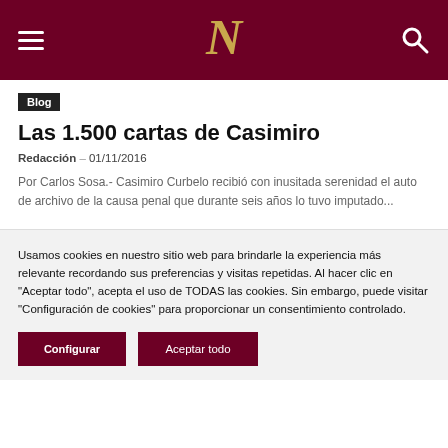N
Blog
Las 1.500 cartas de Casimiro
Redacción – 01/11/2016
Por Carlos Sosa.- Casimiro Curbelo recibió con inusitada serenidad el auto de archivo de la causa penal que durante seis años lo tuvo imputado...
Usamos cookies en nuestro sitio web para brindarle la experiencia más relevante recordando sus preferencias y visitas repetidas. Al hacer clic en "Aceptar todo", acepta el uso de TODAS las cookies. Sin embargo, puede visitar "Configuración de cookies" para proporcionar un consentimiento controlado.